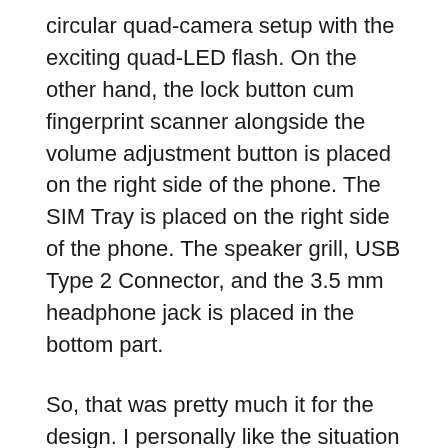circular quad-camera setup with the exciting quad-LED flash. On the other hand, the lock button cum fingerprint scanner alongside the volume adjustment button is placed on the right side of the phone. The SIM Tray is placed on the right side of the phone. The speaker grill, USB Type 2 Connector, and the 3.5 mm headphone jack is placed in the bottom part.
So, that was pretty much it for the design. I personally like the situation going on right now. Because the phone is indeed making some of the best brands feel a real complex about it. So that is good news for the phone and their manufacturer.
Now let us move on to the next segment, which is the display of the Infinix Note 7.